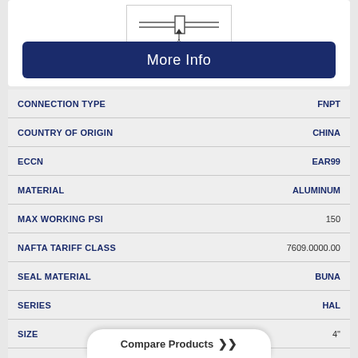[Figure (schematic): Technical diagram of a pipe fitting or strainer with dimension label 'A' below]
More Info
| ATTRIBUTE | VALUE |
| --- | --- |
| CONNECTION TYPE | FNPT |
| COUNTRY OF ORIGIN | CHINA |
| ECCN | EAR99 |
| MATERIAL | ALUMINUM |
| MAX WORKING PSI | 150 |
| NAFTA TARIFF CLASS | 7609.0000.00 |
| SEAL MATERIAL | BUNA |
| SERIES | HAL |
| SIZE | 4" |
| VALVED/UNVALVE | UNVALVED |
Compare Products